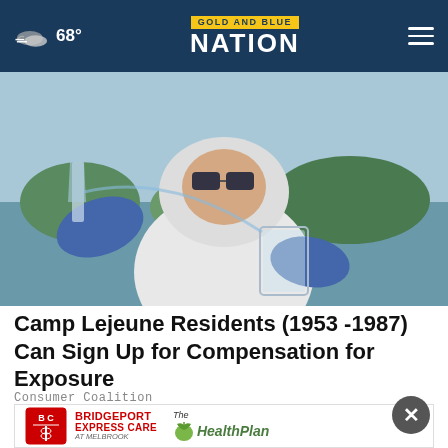68° | GOLD AND BLUE NATION
[Figure (photo): Person in white hazmat suit and blue gloves examining water samples with beakers near a body of water]
Camp Lejeune Residents (1953 -1987) Can Sign Up for Compensation for Exposure
Consumer Coalition
[Figure (logo): Advertisement: Bridgeport Express Care at Melbrook and The Health Plan logos]